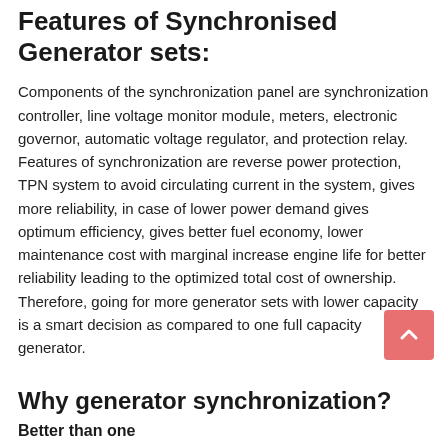Features of Synchronised Generator sets:
Components of the synchronization panel are synchronization controller, line voltage monitor module, meters, electronic governor, automatic voltage regulator, and protection relay. Features of synchronization are reverse power protection, TPN system to avoid circulating current in the system, gives more reliability, in case of lower power demand gives optimum efficiency, gives better fuel economy, lower maintenance cost with marginal increase engine life for better reliability leading to the optimized total cost of ownership. Therefore, going for more generator sets with lower capacity is a smart decision as compared to one full capacity generator.
Why generator synchronization?
Better than one
Having a large unit for power supply is risky, rather you